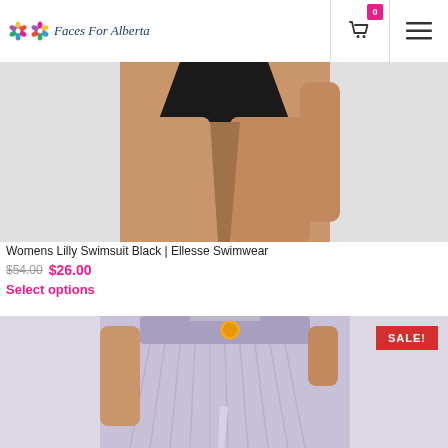[Figure (logo): Faces For Alberta logo with colorful flower icons and italic brand name]
[Figure (photo): Cropped photo of a woman wearing a black swimsuit (Womens Lilly Swimsuit Black by Ellesse Swimwear) against a light gray background]
Womens Lilly Swimsuit Black | Ellesse Swimwear
$54.00 $26.00
Select options
[Figure (photo): Cropped photo of a woman wearing a lavender/purple pleated skirt with a SALE! badge in the top right corner]